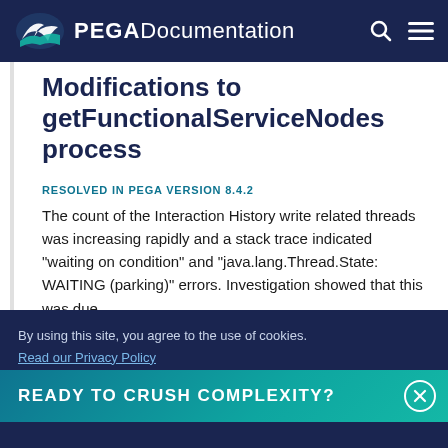PEGA Documentation
Modifications to getFunctionalServiceNodes process
RESOLVED IN PEGA VERSION 8.4.2
The count of the Interaction History write related threads was increasing rapidly and a stack trace indicated "waiting on condition" and "java.lang.Thread.State: WAITING (parking)" errors. Investigation showed that this was due
READY TO CRUSH COMPLEXITY?
By using this site, you agree to the use of cookies.
Read our Privacy Policy
Accept and continue
About cookies